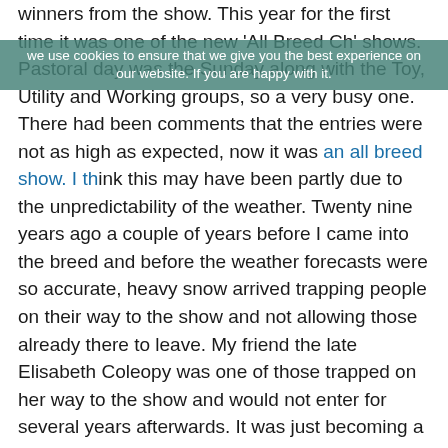winners from the show. This year for the first time it was one of the new 'All Breed Ch' shows. Pastoral day was the Sunday along with the Toy, Utility and Working groups, so a very busy one. There had been comments that the entries were not as high as expected, now it was an all breed show. I think this may have been partly due to the unpredictability of the weather. Twenty nine years ago a couple of years before I came into the breed and before the weather forecasts were so accurate, heavy snow arrived trapping people on their way to the show and not allowing those already there to leave. My friend the late Elisabeth Coleopy was one of those trapped on her way to the show and would not enter for several years afterwards. It was just becoming a very distant memory for those who had encountered it, when 2years ago much the same thing happened, although then we knew the snow was coming. It arrived late on the Saturday and fell overnight, we were meant to be doing Obreedience on the Sunday, the breed having been on the Saturday, but I withdrew the team which was a shame as we had won the heat the year before, but the risk was too high, and many drivers who did venture out were trapped on motor